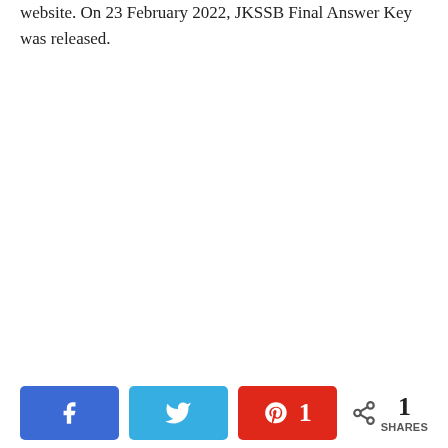website. On 23 February 2022, JKSSB Final Answer Key was released.
[Figure (infographic): Social sharing buttons: Facebook (blue), Twitter (light blue), Pinterest with count 1 (red), and a share icon with '1 SHARES' label]